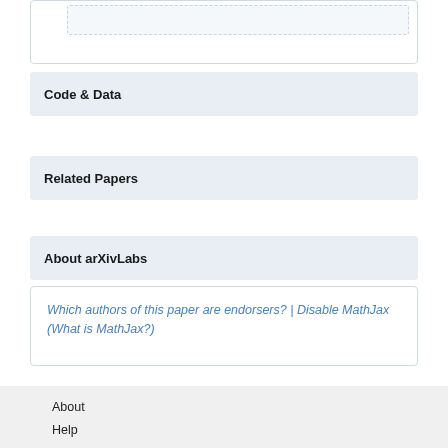[Figure (screenshot): Partial UI element box at top of page with dashed inner border area]
Code & Data
Related Papers
About arXivLabs
Which authors of this paper are endorsers? | Disable MathJax (What is MathJax?)
About
Help